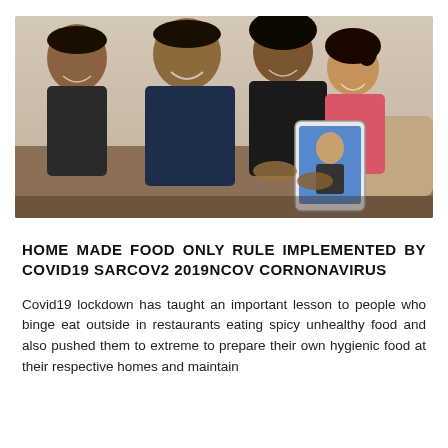[Figure (photo): A family of four — two adults and two children — gathered together smiling and looking at a tablet device, appearing to be on a video call.]
HOME MADE FOOD ONLY RULE IMPLEMENTED BY COVID19 SARCOV2 2019NCOV CORNONAVIRUS
Covid19 lockdown has taught an important lesson to people who binge eat outside in restaurants eating spicy unhealthy food and also pushed them to extreme to prepare their own hygienic food at their respective homes and maintain